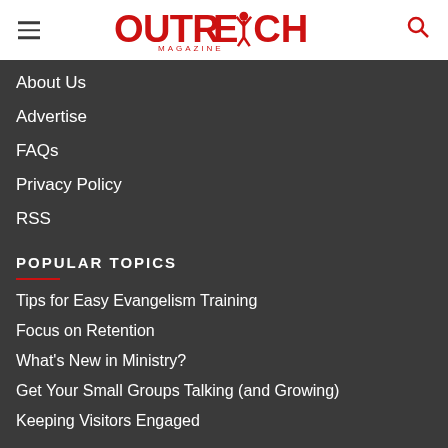Outreach Magazine
About Us
Advertise
FAQs
Privacy Policy
RSS
POPULAR TOPICS
Tips for Easy Evangelism Training
Focus on Retention
What's New in Ministry?
Get Your Small Groups Talking (and Growing)
Keeping Visitors Engaged